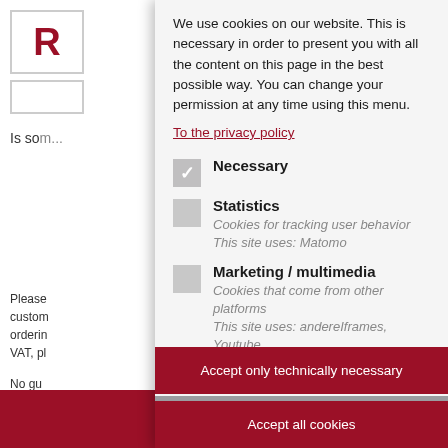We use cookies on our website. This is necessary in order to present you with all the content on this page in the best possible way. You can change your permission at any time using this menu.
To the privacy policy
Necessary
Statistics
Cookies for tracking user behavior
This site uses: Matomo
Marketing / multimedia
Cookies that come from other platforms
This site uses: andereIframes, Youtube
Accept only technically necessary
Accept all cookies